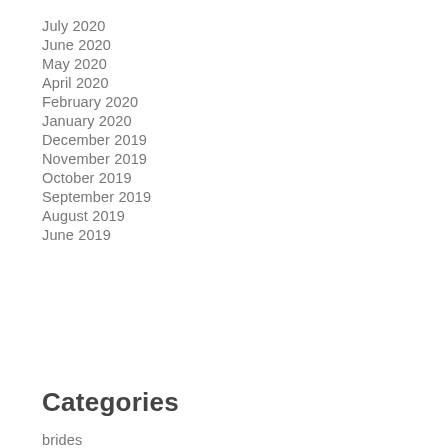July 2020
June 2020
May 2020
April 2020
February 2020
January 2020
December 2019
November 2019
October 2019
September 2019
August 2019
June 2019
Categories
brides